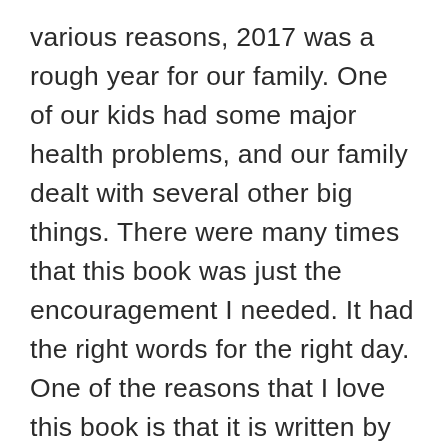various reasons, 2017 was a rough year for our family. One of our kids had some major health problems, and our family dealt with several other big things. There were many times that this book was just the encouragement I needed. It had the right words for the right day. One of the reasons that I love this book is that it is written by Joni Eareckson Tada. If you are not familiar with her story, she is a quadriplegic who has had many health problems. I enjoyed this book because Joni speaks from